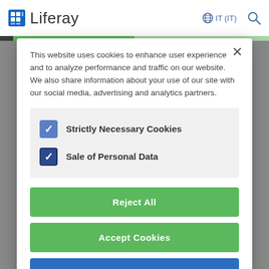[Figure (screenshot): Liferay website header with logo, IT (IT) language selector, and search icon on white navbar]
This website uses cookies to enhance user experience and to analyze performance and traffic on our website. We also share information about your use of our site with our social media, advertising and analytics partners.
Strictly Necessary Cookies (checked)
Sale of Personal Data (checked)
Reject All
Accept Cookies
Save Choices